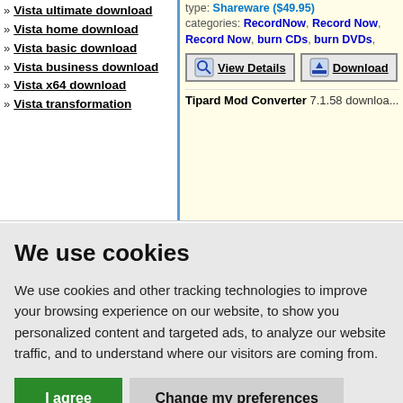» Vista ultimate download
» Vista home download
» Vista basic download
» Vista business download
» Vista x64 download
» Vista transformation
type: Shareware ($49.95) categories: RecordNow, Record Now, Record Now, burn CDs, burn DVDs,
Tipard Mod Converter 7.1.58 downloa...
We use cookies
We use cookies and other tracking technologies to improve your browsing experience on our website, to show you personalized content and targeted ads, to analyze our website traffic, and to understand where our visitors are coming from.
I agree   Change my preferences